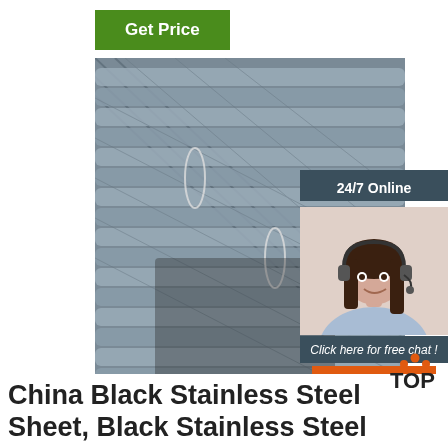Get Price
[Figure (photo): Close-up photo of steel rebar/deformed bars stacked together, gray metallic rods with ribbed texture, some wire ties visible, shadow overlay]
24/7 Online
[Figure (photo): Woman with headset smiling, customer service agent photo]
Click here for free chat !
QUOTATION
[Figure (logo): TOP logo with orange dot pattern forming arch/triangle above letters T-O-P]
China Black Stainless Steel Sheet, Black Stainless Steel